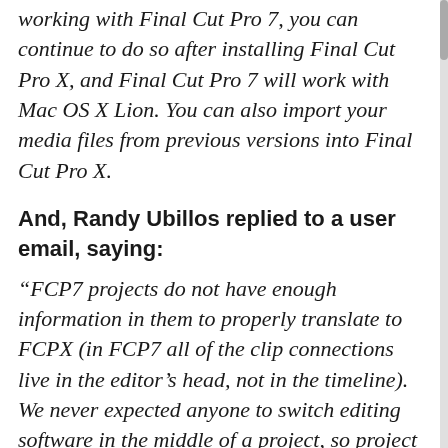working with Final Cut Pro 7, you can continue to do so after installing Final Cut Pro X, and Final Cut Pro 7 will work with Mac OS X Lion. You can also import your media files from previous versions into Final Cut Pro X.
And, Randy Ubillos replied to a user email, saying:
“FCP7 projects do not have enough information in them to properly translate to FCPX (in FCP7 all of the clip connections live in the editor’s head, not in the timeline). We never expected anyone to switch editing software in the middle of a project, so project migration was not a priority.
Final Cut Pro X 1.0 is the beginning of a road, not the end.”